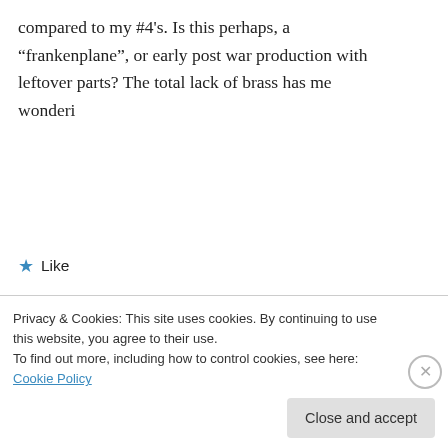compared to my #4's. Is this perhaps, a “frankenplane”, or early post war production with leftover parts? The total lack of brass has me wonderi
★ Like
→ Reply
Bryant on February 2, 2021 at 7:45 pm
Sounds like a typical Type 17 war era plane
Privacy & Cookies: This site uses cookies. By continuing to use this website, you agree to their use.
To find out more, including how to control cookies, see here: Cookie Policy
Close and accept